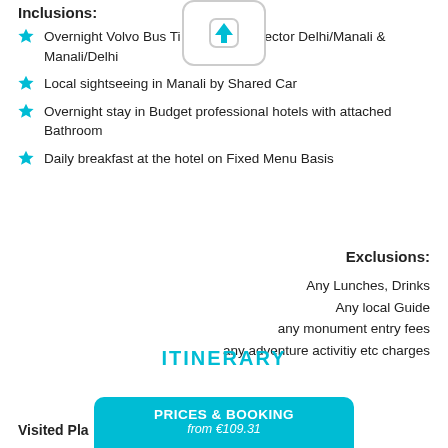Inclusions:
Overnight Volvo Bus Tickets for the sector Delhi/Manali & Manali/Delhi
Local sightseeing in Manali by Shared Car
Overnight stay in Budget professional hotels with attached Bathroom
Daily breakfast at the hotel on Fixed Menu Basis
Exclusions:
Any Lunches, Drinks
Any local Guide
any monument entry fees
any adventure activitiy etc charges
ITINERARY
Visited Pla
PRICES & BOOKING
from €109.31